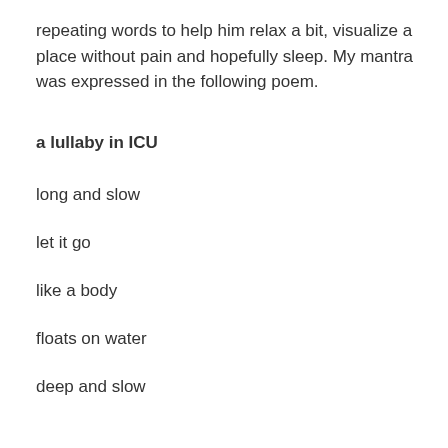repeating words to help him relax a bit, visualize a place without pain and hopefully sleep. My mantra was expressed in the following poem.
a lullaby in ICU
long and slow
let it go
like a body
floats on water
deep and slow
sleep sleep
while all the pieces knit